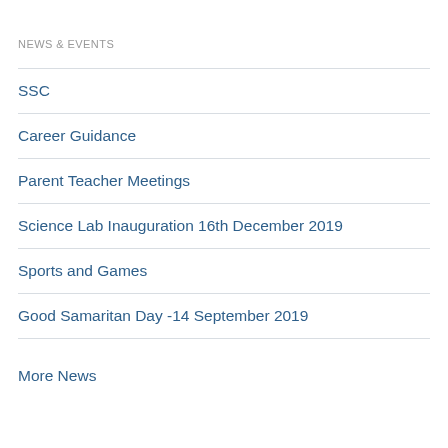NEWS & EVENTS
SSC
Career Guidance
Parent Teacher Meetings
Science Lab Inauguration 16th December 2019
Sports and Games
Good Samaritan Day -14 September 2019
More News